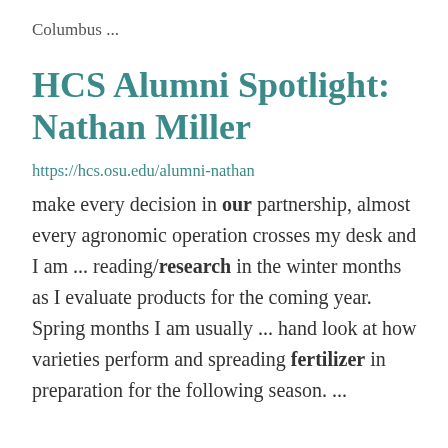Columbus ...
HCS Alumni Spotlight: Nathan Miller
https://hcs.osu.edu/alumni-nathan
make every decision in our partnership, almost every agronomic operation crosses my desk and I am ... reading/research in the winter months as I evaluate products for the coming year. Spring months I am usually ... hand look at how varieties perform and spreading fertilizer in preparation for the following season. ...